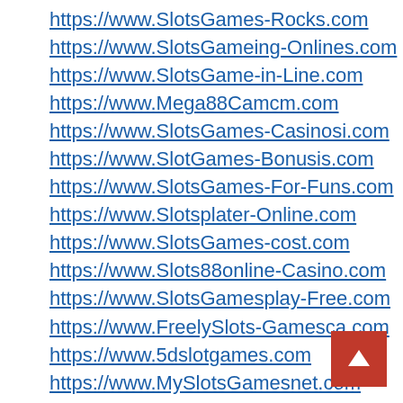https://www.SlotsGames-Rocks.com
https://www.SlotsGameing-Onlines.com
https://www.SlotsGame-in-Line.com
https://www.Mega88Camcm.com
https://www.SlotsGames-Casinosi.com
https://www.SlotGames-Bonusis.com
https://www.SlotsGames-For-Funs.com
https://www.Slotsplater-Online.com
https://www.SlotsGames-cost.com
https://www.Slots88online-Casino.com
https://www.SlotsGamesplay-Free.com
https://www.FreelySlots-Gamesca.com
https://www.5dslotgames.com
https://www.MySlotsGamesnet.com
https://www.CasinoSlot-Gamesco.com
https://www.bvslotgamesco.com
https://www.2SlotGameseo.com